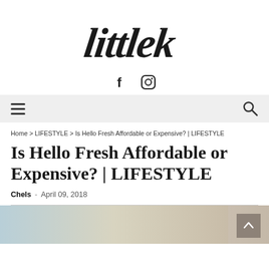[Figure (logo): Littlek handwritten script logo in black ink]
[Figure (infographic): Social media icons: Facebook (f) and Instagram camera icon]
Navigation bar with hamburger menu on left and search icon on right
Home > LIFESTYLE > Is Hello Fresh Affordable or Expensive? | LIFESTYLE
Is Hello Fresh Affordable or Expensive? | LIFESTYLE
Chels - April 09, 2018
[Figure (photo): Bottom strip showing partial photo of a blonde woman]